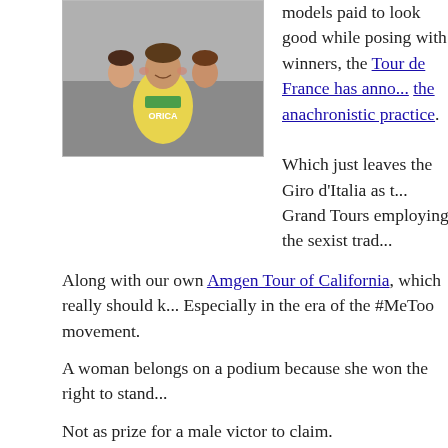[Figure (photo): A cyclist in a yellow and green jersey being kissed on the cheek by two people, one on each side.]
models paid to look good while posing with winners, the Tour de France has announced the anachronistic practice.
Which just leaves the Giro d'Italia as the Grand Tours employing the sexist trad...
Along with our own Amgen Tour of California, which really should k... Especially in the era of the #MeToo movement.
A woman belongs on a podium because she won the right to stand...
Not as prize for a male victor to claim.
Photo by Connor Man from Wikipedia.
………
The campaign to boycott Vista Outdoor, the parent company of Be... CamelBak and Copilot, among other outdoor brands, is gaining spe...
The company, which also makes AR-15-style rifles and is one of th... ammunition manufacturers, as well as a leading supporter of the N... number of retail clients across the US following the NRA's tone-de...